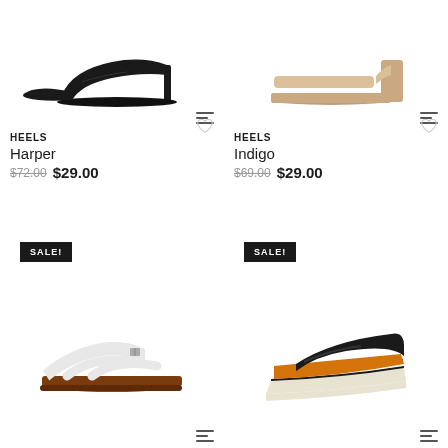[Figure (photo): Black pointed-toe high heel stiletto pump shoe on white background]
[Figure (photo): Beige/nude block heel open-toe sandal mule on white background]
HEELS
Harper
$72.00 $29.00
HEELS
Indigo
$69.00 $29.00
SALE!
SALE!
[Figure (photo): White strappy flat sandal with brown footbed on white background]
[Figure (photo): Black wedge mule with striped espadrille platform and orange footbed]